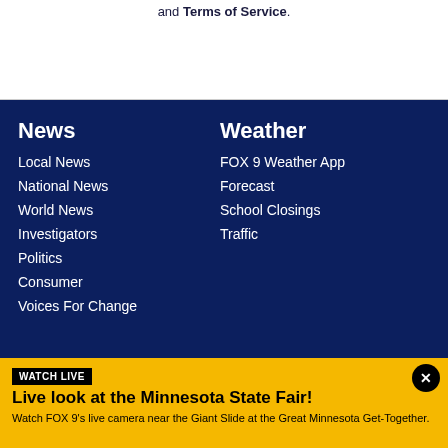and Terms of Service.
News
Local News
National News
World News
Investigators
Politics
Consumer
Voices For Change
Weather
FOX 9 Weather App
Forecast
School Closings
Traffic
WATCH LIVE
Live look at the Minnesota State Fair!
Watch FOX 9's live camera near the Giant Slide at the Great Minnesota Get-Together.